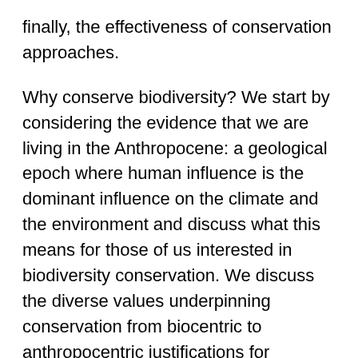finally, the effectiveness of conservation approaches.
Why conserve biodiversity? We start by considering the evidence that we are living in the Anthropocene: a geological epoch where human influence is the dominant influence on the climate and the environment and discuss what this means for those of us interested in biodiversity conservation. We discuss the diverse values underpinning conservation from biocentric to anthropocentric justifications for conservation. We discuss relative importance of the various global threats to biodiversity and focus on two in particular detail: the ever-increasing demand for food, and overexploitation of wild species.
How can we conserve biodiversity? We critically discuss a range of (overlapping) approaches to